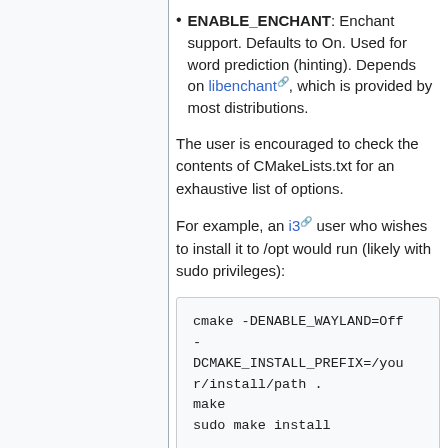ENABLE_ENCHANT: Enchant support. Defaults to On. Used for word prediction (hinting). Depends on libenchant, which is provided by most distributions.
The user is encouraged to check the contents of CMakeLists.txt for an exhaustive list of options.
For example, an i3 user who wishes to install it to /opt would run (likely with sudo privileges):
cmake -DENABLE_WAYLAND=Off
-
DCMAKE_INSTALL_PREFIX=/your/install/path .
make
sudo make install
fcitxE nt...